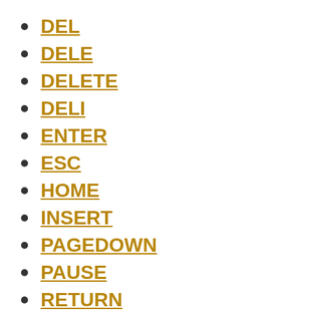DEL
DELE
DELETE
DELI
ENTER
ESC
HOME
INSERT
PAGEDOWN
PAUSE
RETURN
SHIFT
TAB